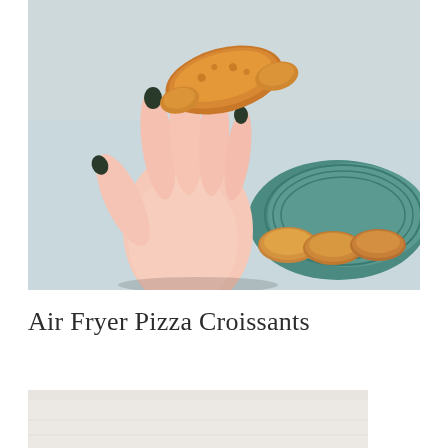[Figure (photo): A hand with dark painted nails holding up a golden-brown air fryer pizza croissant, with more croissants on a green plate in the background.]
Air Fryer Pizza Croissants
[Figure (photo): Partial view of a second food photo showing a light background, partially visible at the bottom of the page.]